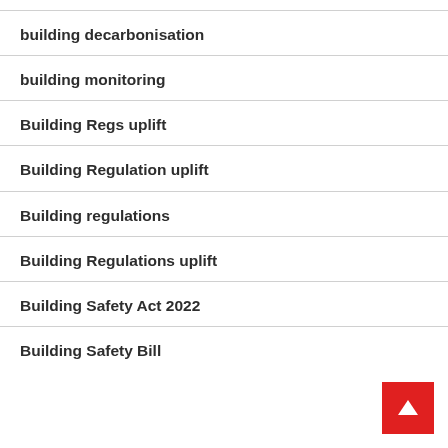building decarbonisation
building monitoring
Building Regs uplift
Building Regulation uplift
Building regulations
Building Regulations uplift
Building Safety Act 2022
Building Safety Bill